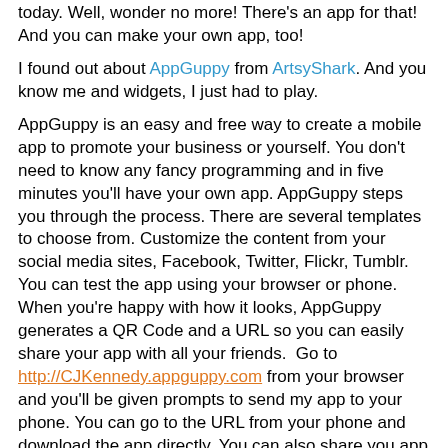today. Well, wonder no more! There's an app for that! And you can make your own app, too!
I found out about AppGuppy from ArtsyShark. And you know me and widgets, I just had to play.
AppGuppy is an easy and free way to create a mobile app to promote your business or yourself. You don't need to know any fancy programming and in five minutes you'll have your own app. AppGuppy steps you through the process. There are several templates to choose from. Customize the content from your social media sites, Facebook, Twitter, Flickr, Tumblr. You can test the app using your browser or phone. When you're happy with how it looks, AppGuppy generates a QR Code and a URL so you can easily share your app with all your friends.  Go to http://CJKennedy.appguppy.com from your browser and you'll be given prompts to send my app to your phone. You can go to the URL from your phone and download the app directly. You can also share you app from Facebook and Twitter.
My app tabs include an RSS feed for my blog and Twitter (because I wouldn't want you to miss the scintillating things I